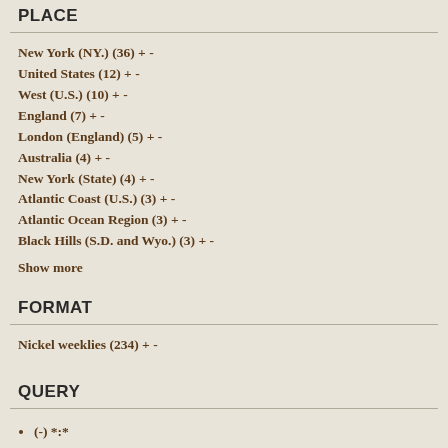PLACE
New York (NY.) (36) + -
United States (12) + -
West (U.S.) (10) + -
England (7) + -
London (England) (5) + -
Australia (4) + -
New York (State) (4) + -
Atlantic Coast (U.S.) (3) + -
Atlantic Ocean Region (3) + -
Black Hills (S.D. and Wyo.) (3) + -
Show more
FORMAT
Nickel weeklies (234) + -
QUERY
(-) *:*